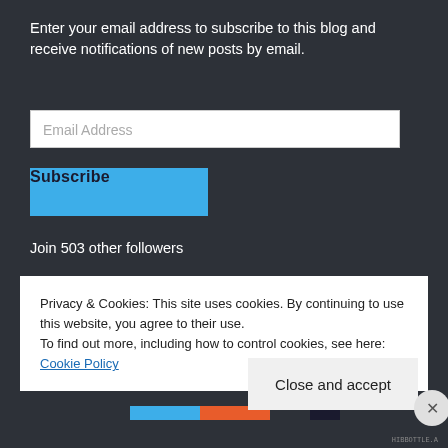Enter your email address to subscribe to this blog and receive notifications of new posts by email.
[Figure (screenshot): Email address input field with placeholder text 'Email Address']
[Figure (screenshot): Blue Subscribe button]
Join 503 other followers
Community
[Figure (screenshot): Blue bar showing '2,412 Pageviews']
Privacy & Cookies: This site uses cookies. By continuing to use this website, you agree to their use.
To find out more, including how to control cookies, see here: Cookie Policy
[Figure (screenshot): Close and accept button]